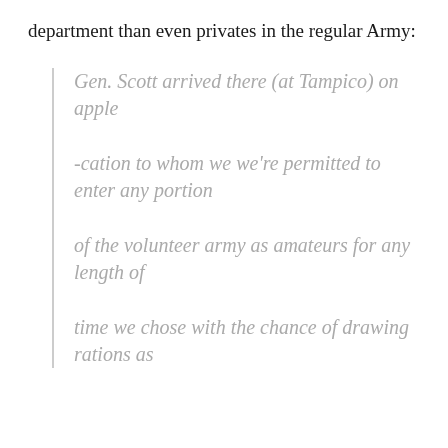department than even privates in the regular Army:
Gen. Scott arrived there (at Tampico) on apple

-cation to whom we we're permitted to enter any portion

of the volunteer army as amateurs for any length of

time we chose with the chance of drawing rations as